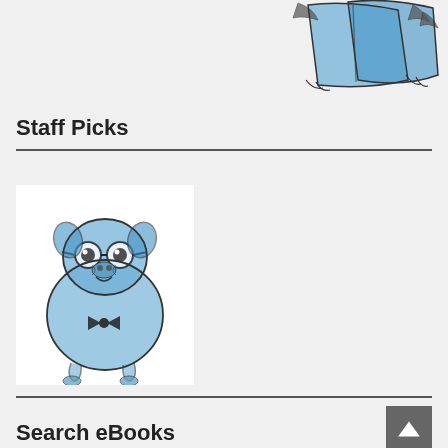[Figure (illustration): Watercolor illustration of a blue book or figure, partially visible at top right of the page]
Staff Picks
[Figure (illustration): Watercolor illustration of a blue pug dog wearing glasses and a bow tie, standing upright]
Search eBooks